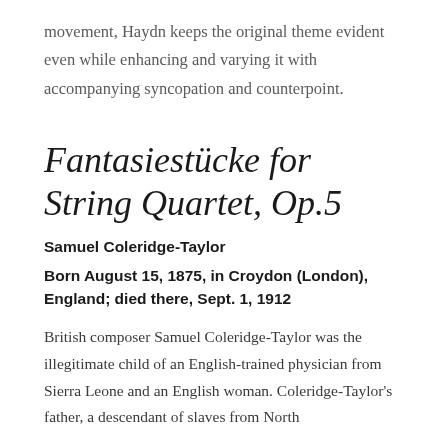movement, Haydn keeps the original theme evident even while enhancing and varying it with accompanying syncopation and counterpoint.
Fantasiestücke for String Quartet, Op.5
Samuel Coleridge-Taylor
Born August 15, 1875, in Croydon (London), England; died there, Sept. 1, 1912
British composer Samuel Coleridge-Taylor was the illegitimate child of an English-trained physician from Sierra Leone and an English woman. Coleridge-Taylor's father, a descendant of slaves from North